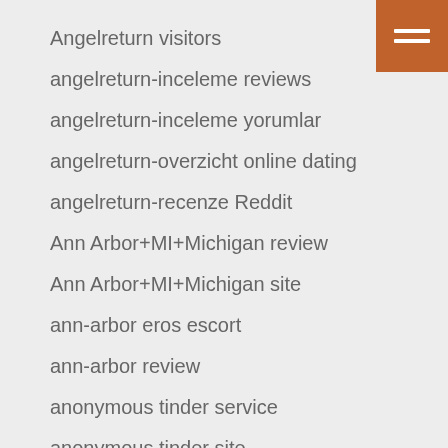Angelreturn visitors
angelreturn-inceleme reviews
angelreturn-inceleme yorumlar
angelreturn-overzicht online dating
angelreturn-recenze Reddit
Ann Arbor+MI+Michigan review
Ann Arbor+MI+Michigan site
ann-arbor eros escort
ann-arbor review
anonymous tinder service
anonymous tinder site
anotherdating.com dating
anschliesen preise